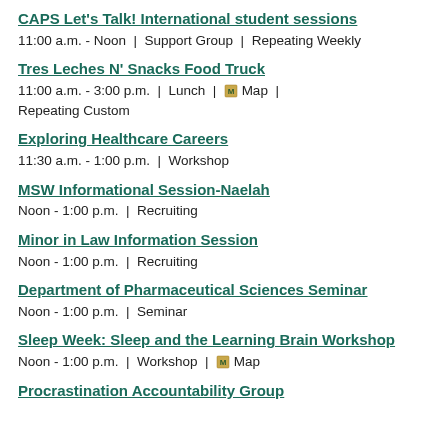CAPS Let's Talk! International student sessions
11:00 a.m. - Noon  |  Support Group  |  Repeating Weekly
Tres Leches N' Snacks Food Truck
11:00 a.m. - 3:00 p.m.  |  Lunch  |  Map  |
Repeating Custom
Exploring Healthcare Careers
11:30 a.m. - 1:00 p.m.  |  Workshop
MSW Informational Session-Naelah
Noon - 1:00 p.m.  |  Recruiting
Minor in Law Information Session
Noon - 1:00 p.m.  |  Recruiting
Department of Pharmaceutical Sciences Seminar
Noon - 1:00 p.m.  |  Seminar
Sleep Week: Sleep and the Learning Brain Workshop
Noon - 1:00 p.m.  |  Workshop  |  Map
Procrastination Accountability Group